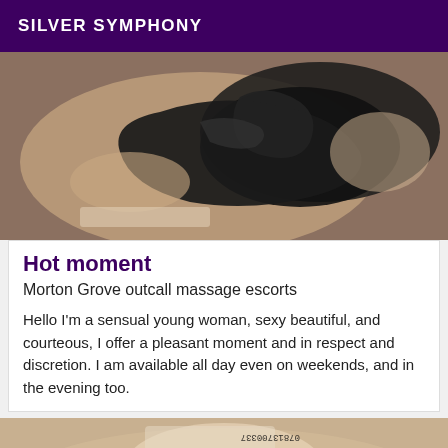SILVER SYMPHONY
[Figure (photo): Close-up photo of a person wearing black lace lingerie, lying on a bed.]
Hot moment
Morton Grove outcall massage escorts
Hello I'm a sensual young woman, sexy beautiful, and courteous, I offer a pleasant moment and in respect and discretion. I am available all day even on weekends, and in the evening too.
[Figure (photo): Photo of a person's foot wearing a black high heel shoe, with text written on the ankle reading 'Luciana' and '07813700337' (mirrored/upside down).]